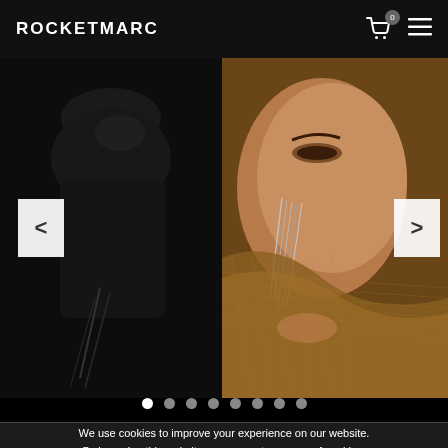ROCKETMARC
[Figure (screenshot): Website screenshot showing ROCKETMARC header with logo on left, cart icon with 0 badge and hamburger menu on right, on dark background]
[Figure (photo): Split slideshow: left panel shows a dark black-and-white image of a torso in black clothing; right panel shows a woman wearing golden chain mesh wrap and silver chain earrings against a warm golden bokeh background. Navigation arrows on left and right sides.]
[Figure (other): 8 carousel dot indicators, first dot is white (active), remaining 7 are grey]
We use cookies to improve your experience on our website. By browsing this website, you agree to our use of cookies.
ACCEPT
2219 LAKINGTON, FL 32514